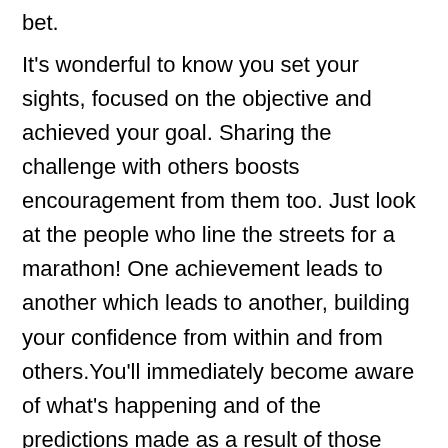bet.
It's wonderful to know you set your sights, focused on the objective and achieved your goal. Sharing the challenge with others boosts encouragement from them too. Just look at the people who line the streets for a marathon! One achievement leads to another which leads to another, building your confidence from within and from others.You'll immediately become aware of what's happening and of the predictions made as a result of those happenings. More details please visit:- Abdullahspeaks.com https://aposelingerie.com/ www.cannablissapparel.com https://myhomeworkshark.com/ https://www.crafted.email/